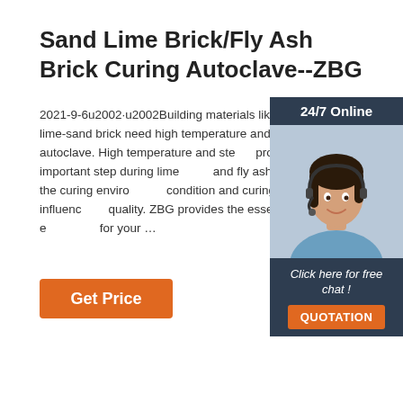Sand Lime Brick/Fly Ash Brick Curing Autoclave--ZBG
2021-9-6u2002·u2002Building materials like fly ash brick, lime-sand brick need high temperature and pressure curing in autoclave. High temperature and steam process is the most important step during lime and fly ash brick production, the curing environment condition and curing time have a great influence on quality. ZBG provides the essetial autoclave equipment for your …
[Figure (photo): Customer support representative with headset, smiling. Sidebar widget with '24/7 Online' header, 'Click here for free chat!' text, and QUOTATION button.]
Get Price